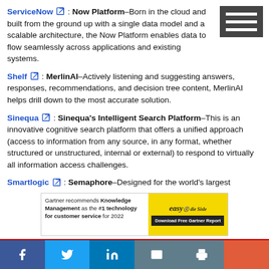ServiceNow: Now Platform–Born in the cloud and built from the ground up with a single data model and a scalable architecture, the Now Platform enables data to flow seamlessly across applications and existing systems.
Shelf: MerlinAI–Actively listening and suggesting answers, responses, recommendations, and decision tree content, MerlinAI helps drill down to the most accurate solution.
Sinequa: Sinequa's Intelligent Search Platform–This is an innovative cognitive search platform that offers a unified approach (access to information from any source, in any format, whether structured or unstructured, internal or external) to respond to virtually all information access challenges.
Smartlogic: Semaphore–Designed for the world's largest
[Figure (screenshot): Advertisement banner: Gartner recommends Knowledge Management as the #1 technology for customer service for 2022. Easy logo and Download Free Gartner Report button.]
Social share bar: Facebook, Twitter, LinkedIn, Email, Print, More